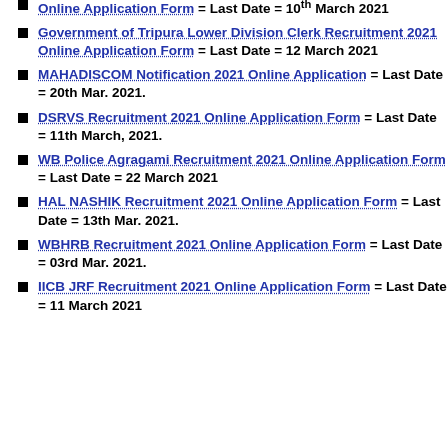[link] Online Application Form = Last Date = 10th March 2021
Government of Tripura Lower Division Clerk Recruitment 2021 Online Application Form = Last Date = 12 March 2021
MAHADISCOM Notification 2021 Online Application = Last Date = 20th Mar. 2021.
DSRVS Recruitment 2021 Online Application Form = Last Date = 11th March, 2021.
WB Police Agragami Recruitment 2021 Online Application Form = Last Date = 22 March 2021
HAL NASHIK Recruitment 2021 Online Application Form = Last Date = 13th Mar. 2021.
WBHRB Recruitment 2021 Online Application Form = Last Date = 03rd Mar. 2021.
IICB JRF Recruitment 2021 Online Application Form = Last Date = 11 March 2021